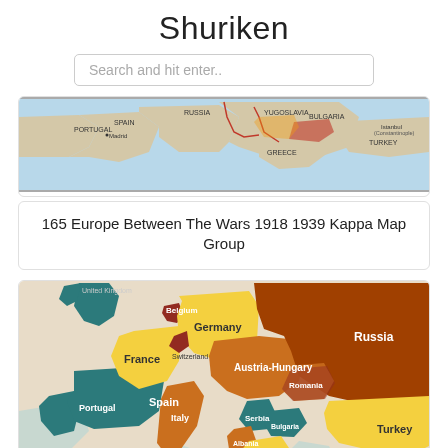Shuriken
Search and hit enter..
[Figure (map): Map of Europe showing countries including Portugal, Spain, France, Yugoslavia, Bulgaria, Greece, Turkey with borders and labels]
165 Europe Between The Wars 1918 1939 Kappa Map Group
[Figure (map): Colored map of Europe showing countries: Belgium, Germany, Russia, France, Switzerland, Austria-Hungary, Romania, Serbia, Bulgaria, Italy, Albania, Greece, Turkey, Portugal, Spain in various colors (teal, yellow, orange, dark orange, beige)]